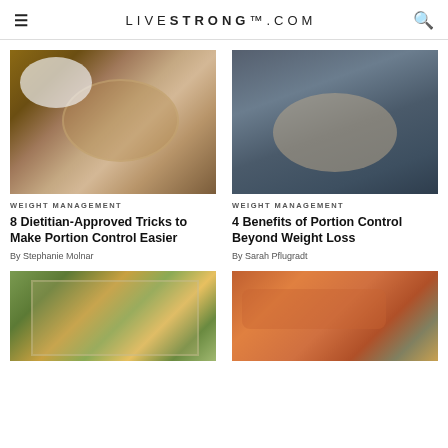LIVESTRONG.COM
[Figure (photo): Overhead view of dining table with food dishes, coffee cups, and hands reaching for food]
WEIGHT MANAGEMENT
8 Dietitian-Approved Tricks to Make Portion Control Easier
By Stephanie Molnar
[Figure (photo): Person in grey sweater holding a bowl of food with a spoon]
WEIGHT MANAGEMENT
4 Benefits of Portion Control Beyond Weight Loss
By Sarah Pflugradt
[Figure (photo): Glass meal prep containers filled with grilled chicken and vegetables]
[Figure (photo): Grilled salmon fillet with herbs and lemon slices on wooden board]